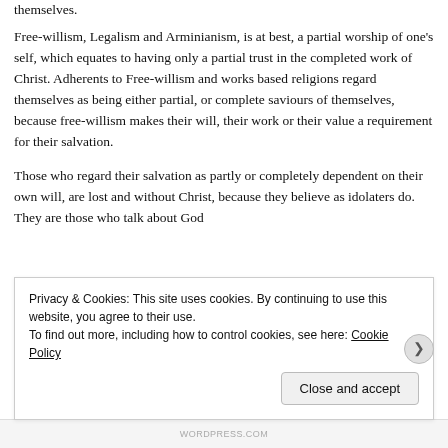themselves.
Free-willism, Legalism and Arminianism, is at best, a partial worship of one's self, which equates to having only a partial trust in the completed work of Christ. Adherents to Free-willism and works based religions regard themselves as being either partial, or complete saviours of themselves, because free-willism makes their will, their work or their value a requirement for their salvation.
Those who regard their salvation as partly or completely dependent on their own will, are lost and without Christ, because they believe as idolaters do. They are those who talk about God
Privacy & Cookies: This site uses cookies. By continuing to use this website, you agree to their use.
To find out more, including how to control cookies, see here: Cookie Policy
Close and accept
WORDPRESS.COM